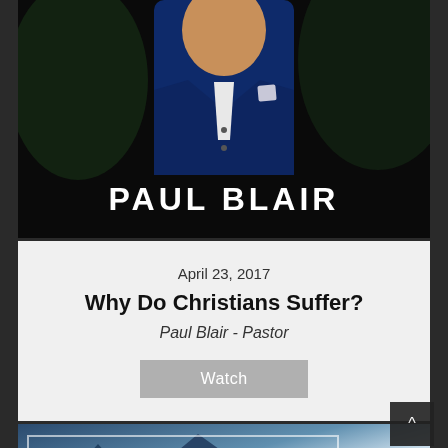[Figure (photo): Photo of Paul Blair in a blue suit with white pocket square, against a dark background, with 'PAUL BLAIR' in large white letters below]
April 23, 2017
Why Do Christians Suffer?
Paul Blair - Pastor
Watch
[Figure (illustration): Mountain landscape background with 'SALVATION' text in large white letters and a white rectangular border overlay]